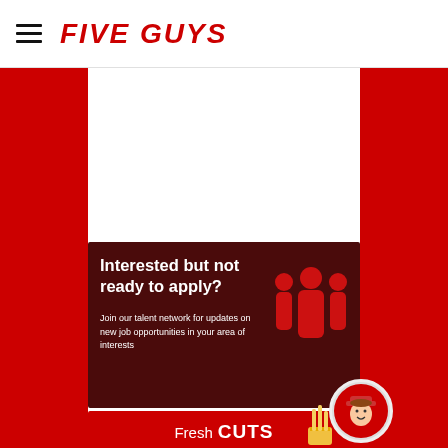FIVE GUYS
[Figure (illustration): Five Guys logo with hamburger menu icon on white navigation bar]
[Figure (illustration): Dark red card with text 'Interested but not ready to apply?' and red group of people icon on right side]
Interested but not ready to apply?
Join our talent network for updates on new job opportunities in your area of interests
[Figure (illustration): Red section header with 'Fresh CUTS' text and fries graphic]
The Five Guys Tuition
[Figure (illustration): Five Guys employee avatar circle in bottom right corner]